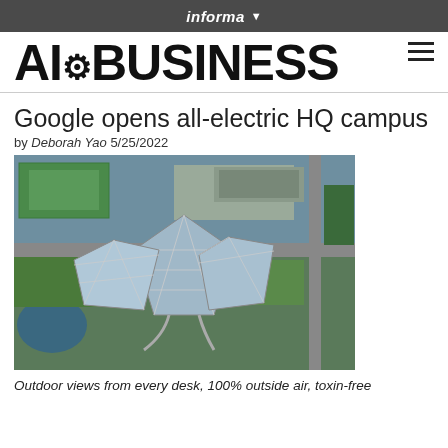informa ▾
AI⚙BUSINESS
Google opens all-electric HQ campus
by Deborah Yao 5/25/2022
[Figure (photo): Aerial view of Google's all-electric HQ campus showing large diamond-shaped glass-paneled buildings surrounded by green lawns, parking lots, roads, and a pond.]
Outdoor views from every desk, 100% outside air, toxin-free